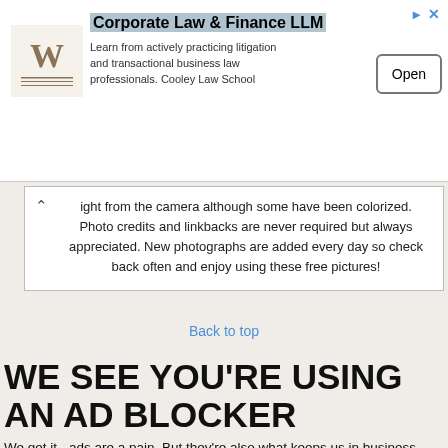[Figure (screenshot): Advertisement banner for Corporate Law & Finance LLM from Cooley Law School with a logo, text, and Open button]
ight from the camera although some have been colorized. Photo credits and linkbacks are never required but always appreciated. New photographs are added every day so check back often and enjoy using these free pictures!
Back to top
WE SEE YOU'RE USING AN AD BLOCKER
We get it - ads are a pain. But they're also what keeps us in business. Please consider adding us to your whitelist so we can continue to bring you these free photos. Thanks so much for using our site!
Close